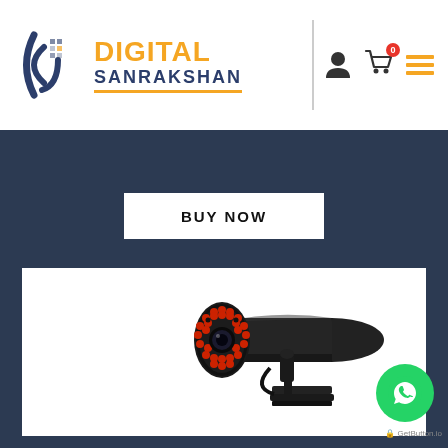[Figure (logo): Digital Sanrakshan logo with stylized D/J icon in dark blue and a grid pattern, text DIGITAL in orange and SANRAKSHAN in dark blue with orange underline]
BUY NOW
[Figure (photo): Black CCTV bullet security camera with red IR LEDs around the lens, mounted on a wall bracket with a cable, photographed against a white background]
[Figure (logo): WhatsApp green circular button with phone/chat icon, labeled GetButton.io]